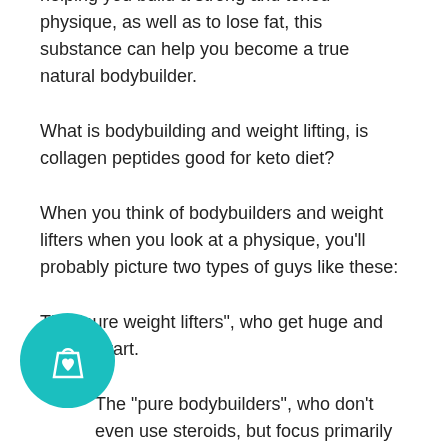helping you build a strong and toned physique, as well as to lose fat, this substance can help you become a true natural bodybuilder.
What is bodybuilding and weight lifting, is collagen peptides good for keto diet?
When you think of bodybuilders and weight lifters when you look at a physique, you'll probably picture two types of guys like these:
The "pure weight lifters", who get huge and lean to start.
The "pure bodybuilders", who don't even use steroids, but focus primarily on doing well in all of their body types, while using some kinds of supplements to augment their muscle growth.
These are the guys you'd love to hit the
[Figure (illustration): Teal circular button with a shopping bag and heart icon]